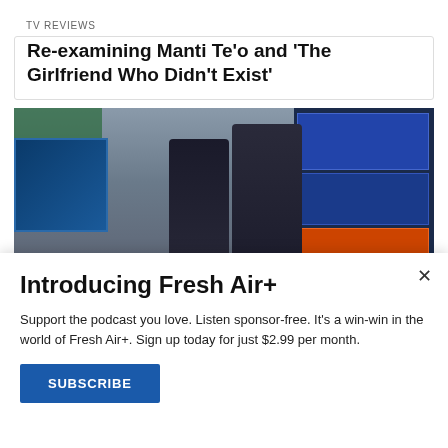TV REVIEWS
Re-examining Manti Te’o and ‘The Girlfriend Who Didn’t Exist’
[Figure (photo): Two people facing each other in a busy office environment with multiple monitors and other workers in the background]
Introducing Fresh Air+
Support the podcast you love. Listen sponsor-free. It’s a win-win in the world of Fresh Air+. Sign up today for just $2.99 per month.
SUBSCRIBE